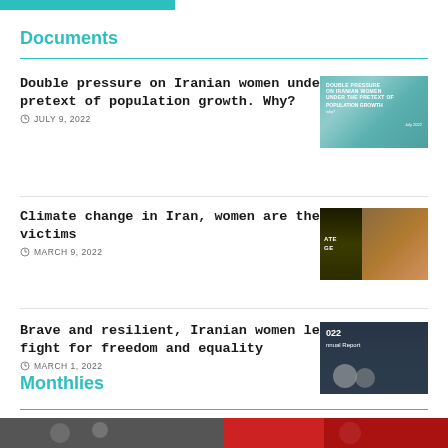Documents
Double pressure on Iranian women under the pretext of population growth. Why?
JULY 9, 2022
[Figure (photo): Document cover: Double Pressure on Iranian women under the pretext of population growth. Why? July 2022]
Climate change in Iran, women are the prime victims
MARCH 9, 2022
[Figure (photo): Document cover: Climate change in Iran, women are the prime victims]
Brave and resilient, Iranian women lead the fight for freedom and equality
MARCH 1, 2022
[Figure (photo): 2022 Annual Report cover with Iranian women]
Monthlies
[Figure (photo): Bottom image strip showing people]